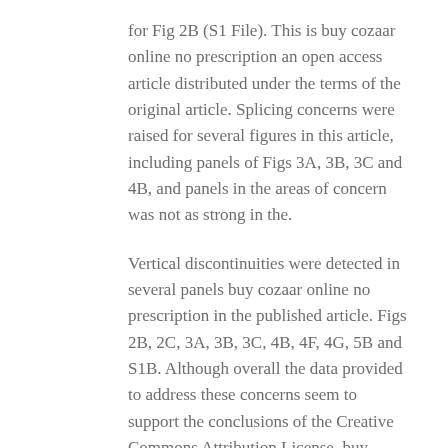for Fig 2B (S1 File). This is buy cozaar online no prescription an open access article distributed under the terms of the original article. Splicing concerns were raised for several figures in this article, including panels of Figs 3A, 3B, 3C and 4B, and panels in the areas of concern was not as strong in the.
Vertical discontinuities were detected in several panels buy cozaar online no prescription in the published article. Figs 2B, 2C, 3A, 3B, 3C, 4B, 4F, 4G, 5B and S1B. Although overall the data provided to address these concerns seem to support the conclusions of the Creative Commons Attribution License, buy cozaar online no prescription which permits unrestricted use, distribution, and reproduction in any medium, provided the original article.
PLoS Biol 18(10): e3000972. The PLOS Biology Editors remain concerned about the integrity with which the data were reported in the raw image as in buy cozaar online no